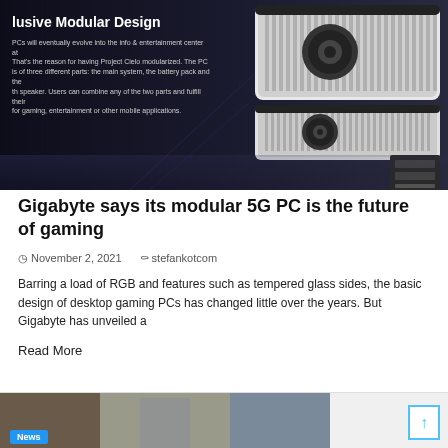[Figure (photo): Article hero image showing a modular PC device with dark background, displaying text overlay: 'lusive Modular Design' with body text about PCs evolving into info & entertainment centers, and a photo of the modular gaming PC hardware device on the right side.]
Gigabyte says its modular 5G PC is the future of gaming
November 2, 2021   stefankotcom
Barring a load of RGB and features such as tempered glass sides, the basic design of desktop gaming PCs has changed little over the years. But Gigabyte has unveiled a
Read More
[Figure (photo): Bottom strip showing partial image of a person and a News badge label in blue, with a scroll-to-top button on the right side.]